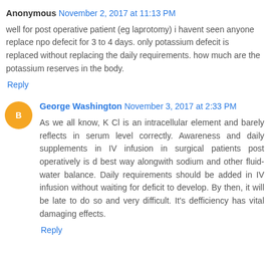Anonymous November 2, 2017 at 11:13 PM
well for post operative patient (eg laprotomy) i havent seen anyone replace npo defecit for 3 to 4 days. only potassium defecit is replaced without replacing the daily requirements. how much are the potassium reserves in the body.
Reply
George Washington November 3, 2017 at 2:33 PM
As we all know, K Cl is an intracellular element and barely reflects in serum level correctly. Awareness and daily supplements in IV infusion in surgical patients post operatively is d best way alongwith sodium and other fluid-water balance. Daily requirements should be added in IV infusion without waiting for deficit to develop. By then, it will be late to do so and very difficult. It's defficiency has vital damaging effects.
Reply